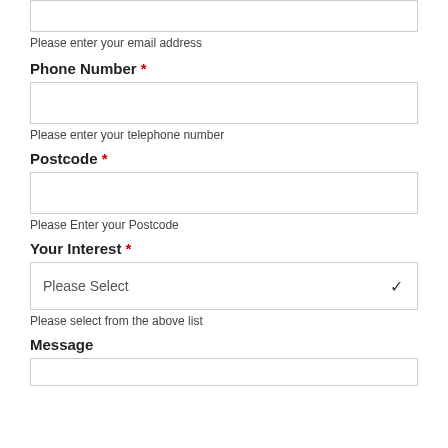[Figure (other): Email address input field (top, partially visible)]
Please enter your email address
Phone Number *
[Figure (other): Phone number input field]
Please enter your telephone number
Postcode *
[Figure (other): Postcode input field]
Please Enter your Postcode
Your Interest *
[Figure (other): Dropdown select box with placeholder 'Please Select']
Please select from the above list
Message
[Figure (other): Message textarea (bottom, partially visible)]